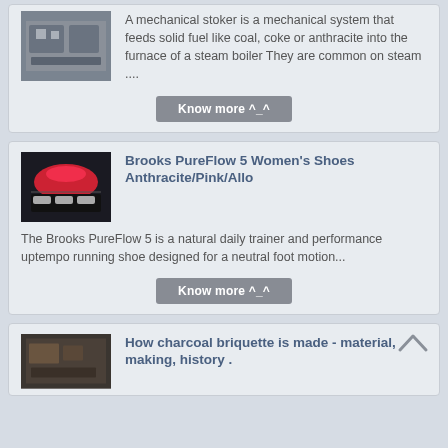[Figure (photo): Grayscale photo of a mechanical stoker machine]
A mechanical stoker is a mechanical system that feeds solid fuel like coal, coke or anthracite into the furnace of a steam boiler They are common on steam ....
Know more ^_^
[Figure (photo): Photo of Brooks PureFlow 5 running shoes in anthracite/pink/allo color]
Brooks PureFlow 5 Women's Shoes Anthracite/Pink/Allo
The Brooks PureFlow 5 is a natural daily trainer and performance uptempo running shoe designed for a neutral foot motion...
Know more ^_^
[Figure (photo): Photo related to charcoal briquette making]
How charcoal briquette is made - material, making, history .